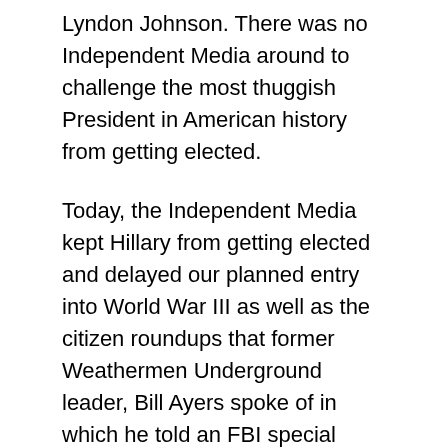Lyndon Johnson. There was no Independent Media around to challenge the most thuggish President in American history from getting elected.
Today, the Independent Media kept Hillary from getting elected and delayed our planned entry into World War III as well as the citizen roundups that former Weathermen Underground leader, Bill Ayers spoke of in which he told an FBI special informant, the late Larry Grathwohl, that 50 million American would have to be put into re-education camps.
The Vietnam was was as much about the Golden Triangle and the Heroin trade in Southeast Asia as it was about increasing the profits of the military-industrial-complex. There was no Independent Media available during this time to shine the light of day upon the CIA's criminal